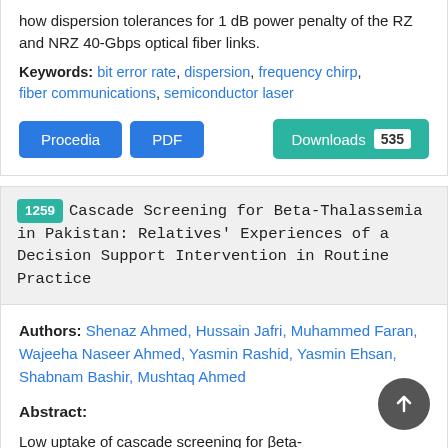how dispersion tolerances for 1 dB power penalty of the RZ and NRZ 40-Gbps optical fiber links.
Keywords: bit error rate, dispersion, frequency chirp, fiber communications, semiconductor laser
Procedia | PDF | Downloads 535
1259 Cascade Screening for Beta-Thalassemia in Pakistan: Relatives' Experiences of a Decision Support Intervention in Routine Practice
Authors: Shenaz Ahmed, Hussain Jafri, Muhammed Faran, Wajeeha Naseer Ahmed, Yasmin Rashid, Yasmin Ehsan, Shabnam Bashir, Mushtaq Ahmed
Abstract:
Low uptake of cascade screening for βeta-Thalassaemia Major (β-TM) in the 'Punjab